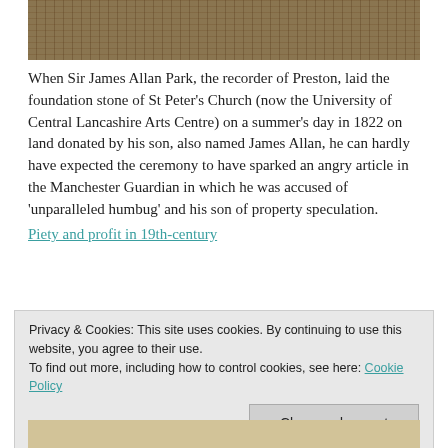[Figure (photo): Top portion of a photograph showing an outdoor scene with brick walls and overgrown vegetation]
When Sir James Allan Park, the recorder of Preston, laid the foundation stone of St Peter's Church (now the University of Central Lancashire Arts Centre) on a summer's day in 1822 on land donated by his son, also named James Allan, he can hardly have expected the ceremony to have sparked an angry article in the Manchester Guardian in which he was accused of 'unparalleled humbug' and his son of property speculation.
Piety and profit in 19th-century
Privacy & Cookies: This site uses cookies. By continuing to use this website, you agree to their use.
To find out more, including how to control cookies, see here: Cookie Policy
Close and accept
[Figure (photo): Bottom portion of an old document or handwritten manuscript]